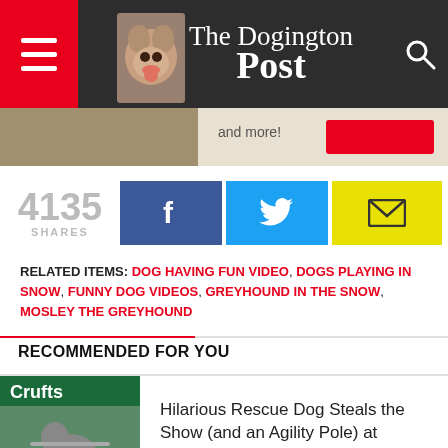The Dogington Post
[Figure (screenshot): Partial image strip showing a thumbnail and partial text and red button]
4135 SHARES
[Figure (infographic): Social share buttons: Facebook (blue f), Twitter (cyan bird), Email (yellow envelope)]
RELATED ITEMS: DOG HAVING FUN VIDEO, DOGS PLAYING IN SNOW, FUNNY DOG VIDEOS, GREYHOUND IN THE SNOW, MOSLEY THE GREYHOUND
RECOMMENDED FOR YOU
[Figure (photo): Dog at Crufts agility event carrying a pole]
Hilarious Rescue Dog Steals the Show (and an Agility Pole) at Crufts
[Figure (photo): Dog opening Christmas presents]
WATCH: Dogs Opening Their Christmas Presents